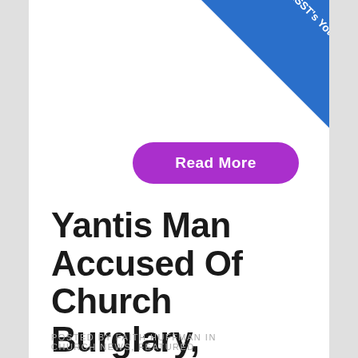[Figure (other): Blue diagonal banner in top-right corner with white text reading KSST's YouTube Channel]
Read More
Yantis Man Accused Of Church Burglary, Stealing Appliances
POSTED BY FAITH HUFFMAN IN CHURCH NEWS, FEATURED